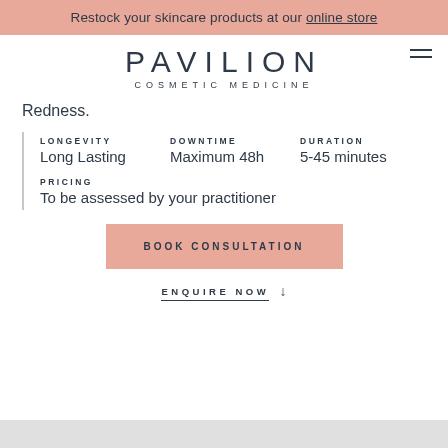Restock your skincare products at our online store
[Figure (logo): Pavilion Cosmetic Medicine logo with stylized text]
Redness.
LONGEVITY
Long Lasting

DOWNTIME
Maximum 48h

DURATION
5-45 minutes

PRICING
To be assessed by your practitioner
BOOK CONSULTATION
ENQUIRE NOW